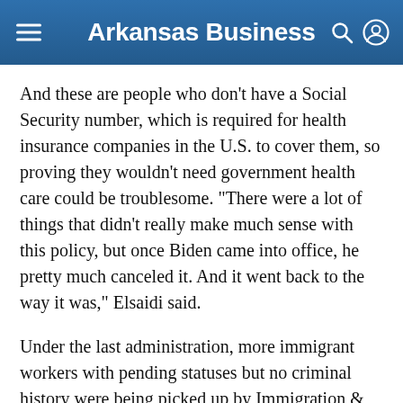Arkansas Business
And these are people who don’t have a Social Security number, which is required for health insurance companies in the U.S. to cover them, so proving they wouldn’t need government health care could be troublesome. “There were a lot of things that didn’t really make much sense with this policy, but once Biden came into office, he pretty much canceled it. And it went back to the way it was,” Elsaidi said.
Under the last administration, more immigrant workers with pending statuses but no criminal history were being picked up by Immigration & Customs Enforcement. This was, of course, an